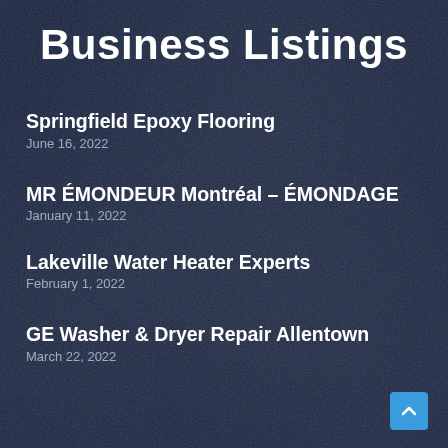Business Listings
Springfield Epoxy Flooring
June 16, 2022
MR ÉMONDEUR Montréal – ÉMONDAGE
January 11, 2022
Lakeville Water Heater Experts
February 1, 2022
GE Washer & Dryer Repair Allentown
March 22, 2022